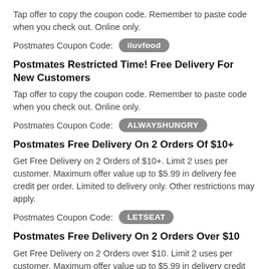Tap offer to copy the coupon code. Remember to paste code when you check out. Online only.
Postmates Coupon Code: iluvfood
Postmates Restricted Time! Free Delivery For New Customers
Tap offer to copy the coupon code. Remember to paste code when you check out. Online only.
Postmates Coupon Code: ALWAYSHUNGRY
Postmates Free Delivery On 2 Orders Of $10+
Get Free Delivery on 2 Orders of $10+. Limit 2 uses per customer. Maximum offer value up to $5.99 in delivery fee credit per order. Limited to delivery only. Other restrictions may apply.
Postmates Coupon Code: LETSEAT
Postmates Free Delivery On 2 Orders Over $10
Get Free Delivery on 2 Orders over $10. Limit 2 uses per customer. Maximum offer value up to $5.99 in delivery credit per order. Other restrictions may apply.